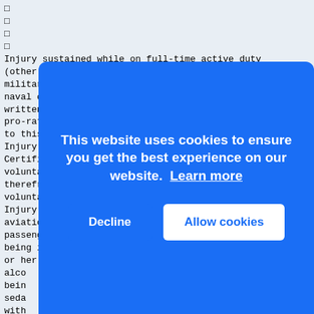Injury sustained while on full-time active duty (other than for two months or less training) in any military,
naval or air force. When the Employee gives Us written notice, any unearned Premium will be refunded pro-rata for any period not covered by the Policy due to this exclusion; or
Injury occurring prior to the Employee’s Date of Certificate; or
voluntary inhalation of gas or fumes or asphyxiation therefrom; or
voluntary taking of poison; or
Injury while engaged in an illegal occupation; or
aviation, except flight in a regularly scheduled passenger aircraft; or
being intoxicated in accordance with the laws of his or her state of residence; or
alco...
being...
seda...
with...
the...
part...
dent...
natu...
all...
illn...
rest care;
convalescent care or rehabilitation. Complications of
This website uses cookies to ensure you get the best experience on our website. Learn more
Decline  Allow cookies